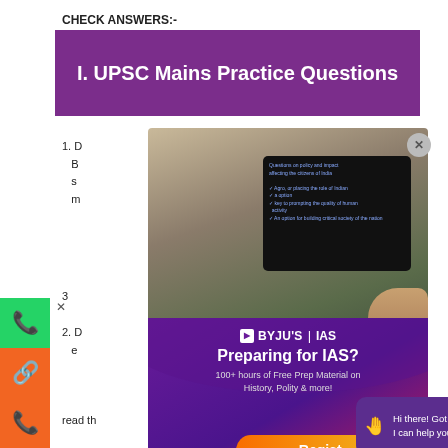CHECK ANSWERS:-
I. UPSC Mains Practice Questions
[Figure (screenshot): Screenshot of BYJU'S IAS app popup overlaid on a webpage. Shows a person viewing a tablet with educational content. BYJU'S IAS branding with text 'Preparing for IAS?' and '100+ hours of Free Prep Material on History, Polity & more!' on a purple/pink gradient background. A chat bubble reads 'Hi there! Got any questions? I can help you...' A Register button is visible. Social media sidebar icons for WhatsApp, Share, Phone are on the left.]
1. D...nd B...s...m...ocess u...Paper 3...
2. D...e...s)(GS P...
read th
Oct
IAS General Studies Notes Links